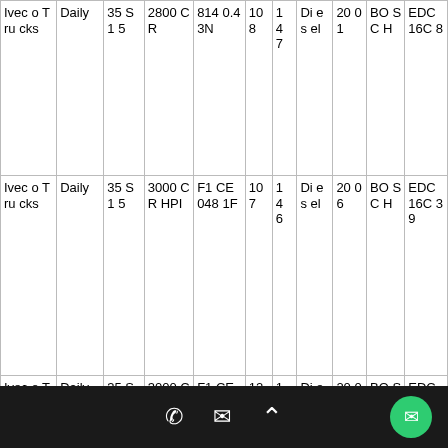| Make | Model | Variant | Engine | ECU | KW | Cyl | Fuel | Year | Brand | ECU Code |
| --- | --- | --- | --- | --- | --- | --- | --- | --- | --- | --- |
| Iveco Trucks | Daily | 35 S15 | 2800 CR | 814 0.4 3N | 108 | 14 7 | Diesel | 2001 | BOSCH | EDC 16C 8 |
| Iveco Trucks | Daily | 35 S15 | 3000 CR HPI | F1 CE 048 1F | 107 | 14 6 | Diesel | 2006 | BOSCH | EDC 16C 39 |
| Iveco Trucks | Daily | 35 S17 | 3000 CR HPI | F1 CE 048 1B | 122 | 16 6 | Diesel | 2004 | BOSCH | EDC 16C 8 |
| Iveco Trucks | Daily | 35 S18 | 3000 CR HPI | F1 CE 048 1H | 130 | 17 6 | Diesel | 2006 | BOSCH | EDC 16C 39 |
| Iveco Trucks (partial) | Daily | 35 | 2800 0.4 |  | 9 6 |  | Diesel | 19 | BO SC | M... |